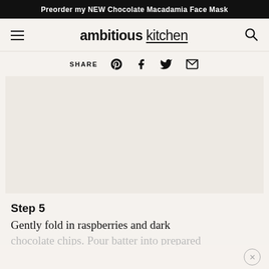Preorder my NEW Chocolate Macadamia Face Mask
[Figure (logo): Ambitious Kitchen website logo with hamburger menu on left and search icon on right]
SHARE
[Figure (screenshot): Large white/cream colored image area placeholder for a recipe step photo]
Step 5
Gently fold in raspberries and dark chocolate chips. Pour batter into prepared